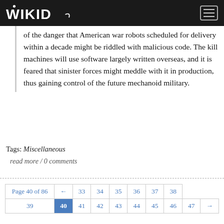WIKID [logo] [menu button]
of the danger that American war robots scheduled for delivery within a decade might be riddled with malicious code. The kill machines will use software largely written overseas, and it is feared that sinister forces might meddle with it in production, thus gaining control of the future mechanoid military.
Tags: Miscellaneous
read more / 0 comments
| Page 40 of 86 | ← | 33 | 34 | 35 | 36 | 37 | 38 |
| --- | --- | --- | --- | --- | --- | --- | --- |
| 39 | 40 | 41 | 42 | 43 | 44 | 45 | 46 | 47 | → |